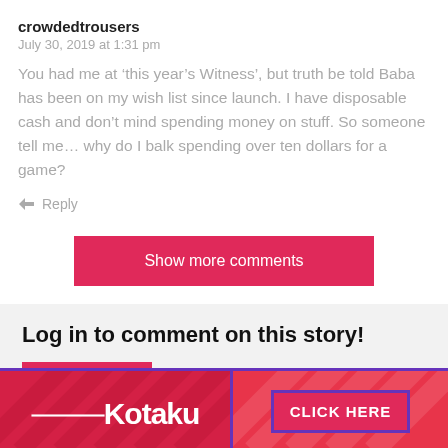crowdedtrousers
July 30, 2019 at 1:31 pm
You had me at ‘this year’s Witness’, but truth be told Baba has been on my wish list since launch. I have disposable cash and don’t mind spending money on stuff. So someone tell me… why do I balk spending over ten dollars for a game?
Reply
Show more comments
Log in to comment on this story!
Log in
[Figure (logo): Kotaku advertisement banner with Kotaku logo on left and CLICK HERE button on right, red background with diagonal stripe pattern]